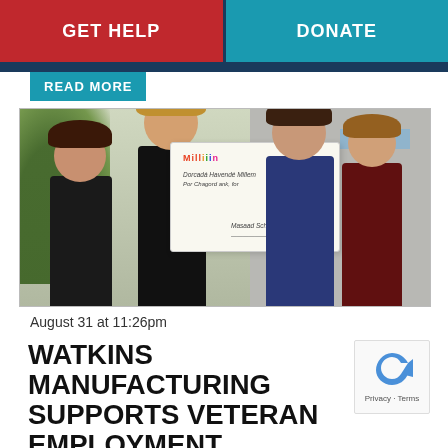GET HELP | DONATE
READ MORE
[Figure (photo): Four women standing outdoors in front of a building holding a large ceremonial check from Millin, with palm trees visible on the left.]
August 31 at 11:26pm
WATKINS MANUFACTURING SUPPORTS VETERAN EMPLOYMENT PROGRAM